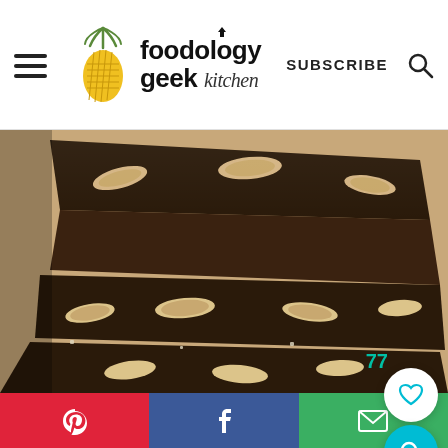foodology geek kitchen — SUBSCRIBE
[Figure (photo): Close-up photo of stacked dark chocolate bark pieces studded with whole almonds and hazelnuts, on a light tan/cream background.]
77
Pinterest share | Facebook share | Email share